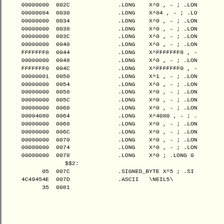Assembly code listing with hex data values, addresses, and directives including .LONG, .SIGNED_BYTE, and .ASCII directives. Data values and offsets shown in hexadecimal.